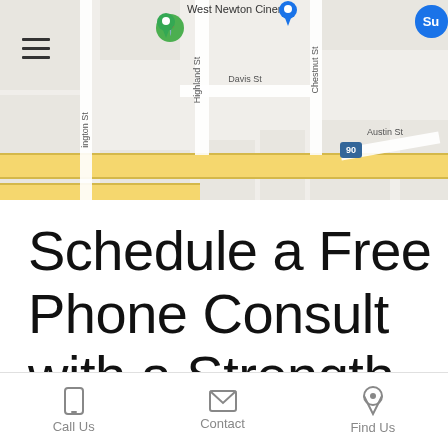[Figure (map): Google Maps screenshot showing West Newton area with Highland St, Davis St, Chestnut St, Austin St, Washington St, and Interstate 90 highway highlighted in yellow. Green location pin and blue marker visible.]
Schedule a Free Phone Consult with a Strength Coach
Call Us   Contact   Find Us